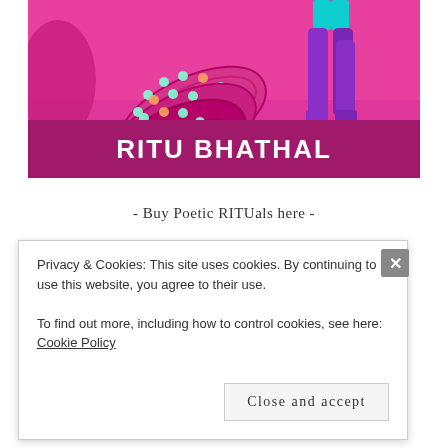[Figure (illustration): Colorful illustration showing a woman's legs in high heels with decorative bangles/bracelets on a pink/magenta background. Author blog header image for Ritu Bhathal.]
RITU BHATHAL
- Buy Poetic RITUals here -
[Figure (illustration): Rainbow-colored glitter/texture strip image]
Privacy & Cookies: This site uses cookies. By continuing to use this website, you agree to their use.
To find out more, including how to control cookies, see here: Cookie Policy
Close and accept